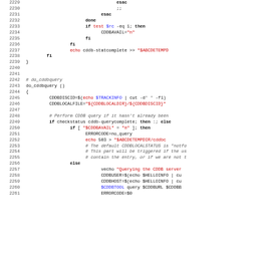Shell script source code, lines 2229-2261, showing do_cddbquery function and related shell script code with CDDB query logic.